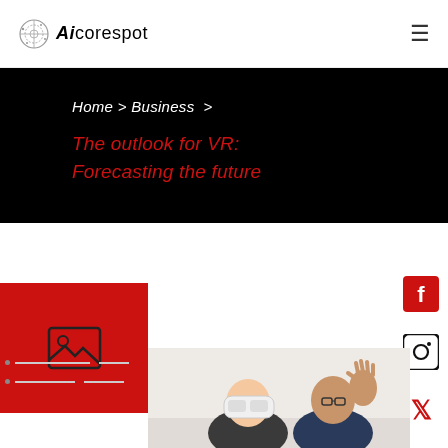Aicorespot — navigation header with logo and hamburger menu
Home > Business > The outlook for VR: Forecasting the future
The outlook for VR: Forecasting the future
[Figure (photo): Red placeholder box with image icon]
[Figure (photo): Two young men using VR headset, one wearing glasses with hand raised]
[Figure (other): Social media icons: Facebook, Instagram, Twitter, LinkedIn on right side]